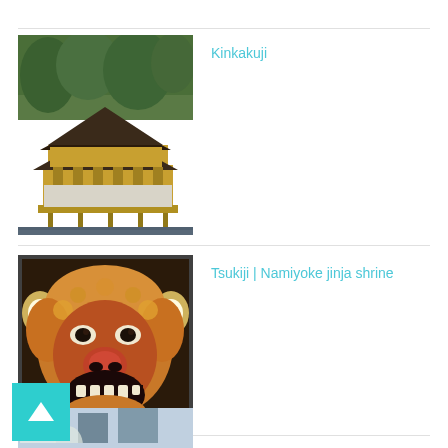[Figure (photo): Kinkakuji golden pavilion temple reflected in a pond, surrounded by green trees]
Kinkakuji
[Figure (photo): Tsukiji Namiyoke jinja shrine lion-dog (shishi) decorative mask, red and gold colored]
Tsukiji | Namiyoke jinja shrine
[Figure (photo): Chidorigafuchi Yozakura cherry blossoms with city buildings in background]
Chidorigafuchi Yozakura